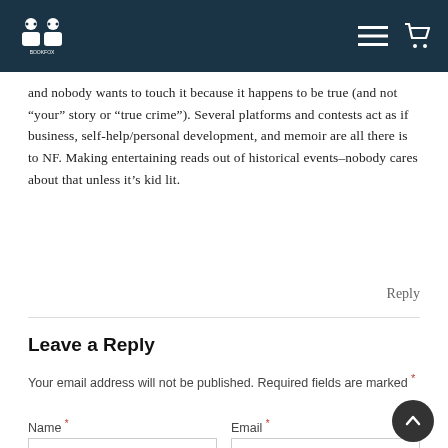Bookfox logo with navigation menu and cart icons
and nobody wants to touch it because it happens to be true (and not “your” story or “true crime”). Several platforms and contests act as if business, self-help/personal development, and memoir are all there is to NF. Making entertaining reads out of historical events–nobody cares about that unless it’s kid lit.
Reply
Leave a Reply
Your email address will not be published. Required fields are marked *
Name * Email *